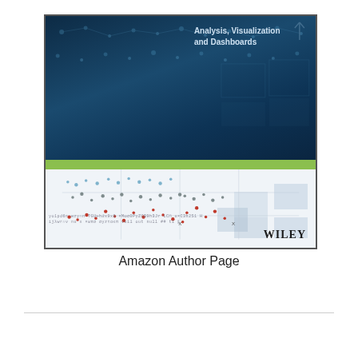[Figure (illustration): Book cover thumbnail showing 'Analysis, Visualization and Dashboards' with a dark blue teal top half featuring scatter plot visualization and data network graphics, a green horizontal bar dividing the cover, a light bottom half with scatter plot dots and grid squares, encoded text strings, and the WILEY publisher logo in the bottom right.]
Amazon Author Page